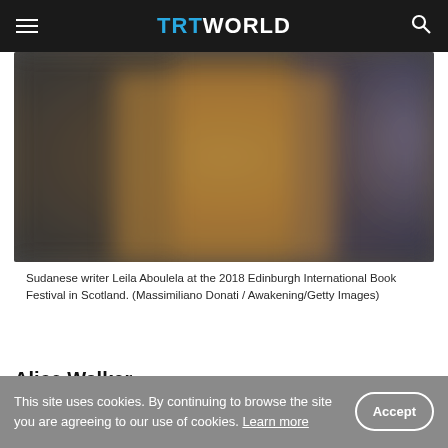TRT WORLD
[Figure (photo): Blurred photo of Sudanese writer Leila Aboulela at the 2018 Edinburgh International Book Festival]
Sudanese writer Leila Aboulela at the 2018 Edinburgh International Book Festival in Scotland. (Massimiliano Donati / Awakening/Getty Images)
Alice Walker
This site uses cookies. By continuing to browse the site you are agreeing to our use of cookies. Learn more